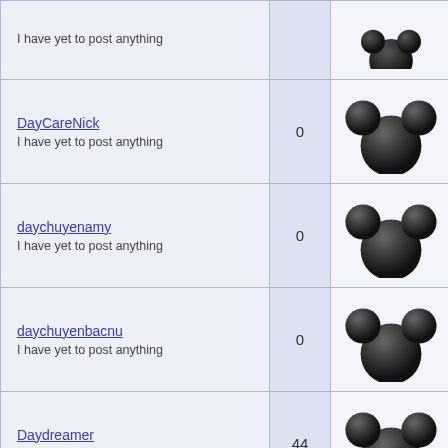| User | Count | Icon |
| --- | --- | --- |
| I have yet to post anything |  |  |
| DayCareNick
I have yet to post anything | 0 | Mickey icon |
| daychuyenamy
I have yet to post anything | 0 | Mickey icon |
| daychuyenbacnu
I have yet to post anything | 0 | Mickey icon |
| Daydreamer
Buying my Disneyland park tickets | 44 | Mickey icon |
| dazzlingdiva1@att.net
I have yet to post anything | 0 | Mickey icon |